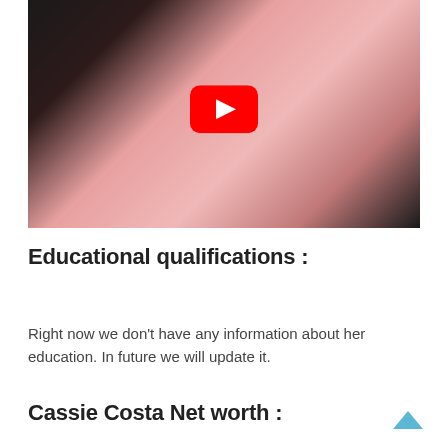[Figure (screenshot): YouTube video thumbnail showing a woman in black lingerie on a pink background, with a YouTube play button overlay in the center.]
Educational qualifications :
Right now we don’t have any information about her education. In future we will update it.
Cassie Costa Net worth :